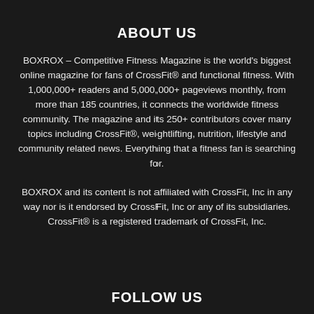ABOUT US
BOXROX – Competitive Fitness Magazine is the world’s biggest online magazine for fans of CrossFit® and functional fitness. With 1,000,000+ readers and 5,000,000+ pageviews monthly, from more than 185 countries, it connects the worldwide fitness community. The magazine and its 250+ contributors cover many topics including CrossFit®, weightlifting, nutrition, lifestyle and community related news. Everything that a fitness fan is searching for.
BOXROX and its content is not affiliated with CrossFit, Inc in any way nor is it endorsed by CrossFit, Inc or any of its subsidiaries. CrossFit® is a registered trademark of CrossFit, Inc.
FOLLOW US